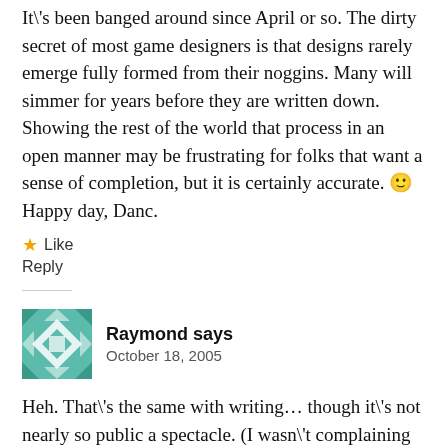It's been banged around since April or so. The dirty secret of most game designers is that designs rarely emerge fully formed from their noggins. Many will simmer for years before they are written down. Showing the rest of the world that process in an open manner may be frustrating for folks that want a sense of completion, but it is certainly accurate. 🙂 Happy day, Danc.
★ Like
Reply
Raymond says
October 18, 2005
Heh. That's the same with writing… though it's not nearly so public a spectacle. (I wasn't complaining about spacecrack… btw… human nature how social interractions affect a person's ability to actually get